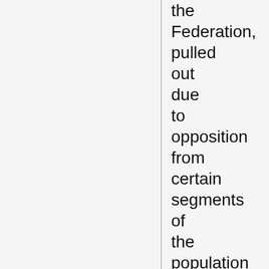the Federation, pulled out due to opposition from certain segments of the population as well as